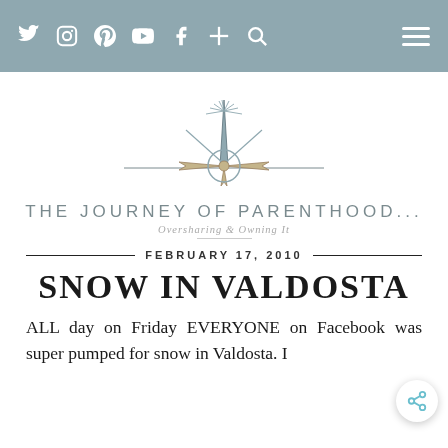Navigation bar with social icons: Twitter, Instagram, Pinterest, YouTube, Facebook, Plus, Search, and hamburger menu
[Figure (logo): Compass rose logo illustration with radiating lines, stylized compass with north/south/east/west pointers, tan and dark teal coloring]
THE JOURNEY OF PARENTHOOD...
Oversharing & Owning It
FEBRUARY 17, 2010
SNOW IN VALDOSTA
ALL day on Friday EVERYONE on Facebook was super pumped for snow in Valdosta. I